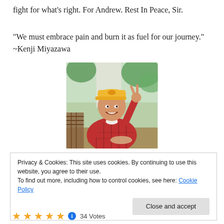fight for what's right. For Andrew. Rest In Peace, Sir.
“We must embrace pain and burn it as fuel for our journey.”
~Kenji Miyazawa
[Figure (photo): A man wearing a yellow cap and red plaid shirt, making a peace sign with his hand, seated outdoors with greenery in the background.]
Privacy & Cookies: This site uses cookies. By continuing to use this website, you agree to their use.
To find out more, including how to control cookies, see here: Cookie Policy
Close and accept
34 Votes